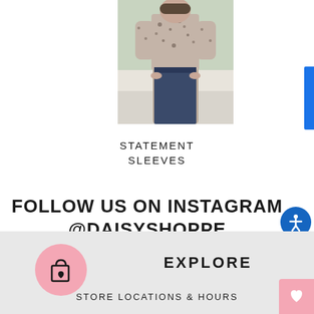[Figure (photo): Photo of a person wearing a floral/patterned blouse with statement sleeves and dark jeans, standing outdoors]
STATEMENT SLEEVES
FOLLOW US ON INSTAGRAM @DAISYSHOPPE
[Figure (illustration): Shopping bag icon with heart on pink circle background - Explore section icon]
EXPLORE
STORE LOCATIONS & HOURS